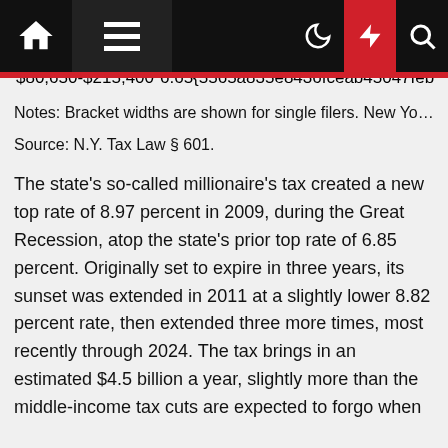| Income Range |  |
| --- | --- |
| $21,401-$80,650 | 6.45{5565a835e8436fceab45047feb… |
| $80,650-$215,400 | 6.65{5565a835e8436fceab45047feb… |
Notes: Bracket widths are shown for single filers. New Yo…
Source: N.Y. Tax Law § 601.
The state's so-called millionaire's tax created a new top rate of 8.97 percent in 2009, during the Great Recession, atop the state's prior top rate of 6.85 percent. Originally set to expire in three years, its sunset was extended in 2011 at a slightly lower 8.82 percent rate, then extended three more times, most recently through 2024. The tax brings in an estimated $4.5 billion a year, slightly more than the middle-income tax cuts are expected to forgo when